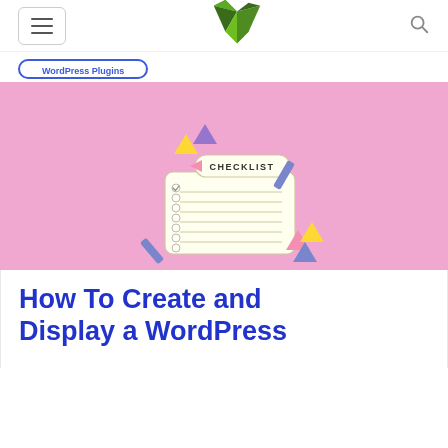Navigation header with hamburger menu, site logo (V shape), and search icon
[Figure (logo): Green geometric V-shape logo made of angular facets]
[Figure (illustration): Pink background illustration showing a checklist notepad with 'CHECKLIST' label tag, colorful triangles and geometric shapes scattered around it]
How To Create and Display a WordPress